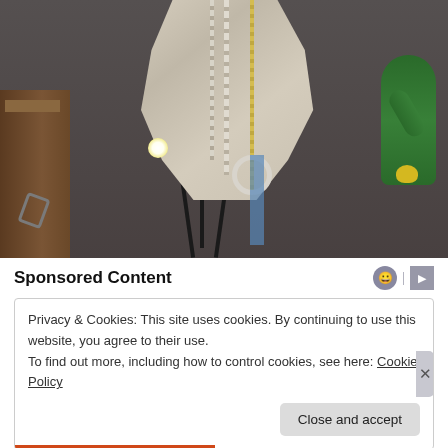[Figure (photo): Photo of a jewelry display featuring a large driftwood or sculptural white/grey piece on a stand, with pearl/bead necklaces and gold chain draped over it, a white ring hanging from one necklace, green cactus decoration in the background right, wooden cabinet on the left, in what appears to be a boutique or craft fair setting with dark background.]
Sponsored Content
Privacy & Cookies: This site uses cookies. By continuing to use this website, you agree to their use.
To find out more, including how to control cookies, see here: Cookie Policy
Close and accept